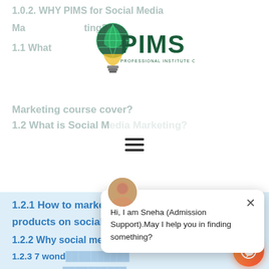[Figure (logo): PIMS - Professional Institute of Marketing & Strategy logo with lightbulb globe icon]
1.0.2. WHY PIMS for Social Media Marketing course?
1.1 What does Social Media Marketing course cover?
1.2 What is Social Media Marketing?
1.2.1 How to market a company's products on social media?
1.2.2 Why social media is important?
1.2.3 7 wond...
1.2.4 Create...
1.2.5 Facebo...
1.2.6 Linkedl...
1.2.7 Twitter Marketing
1.2.8 Pinterest Marketing
1.2.9 Quora Marketing etc,
Hi, I am Sneha (Admission Support).May I help you in finding something?